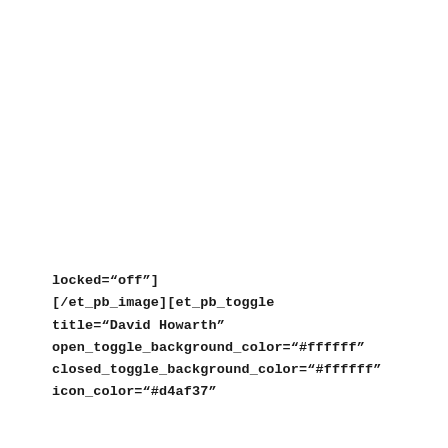locked="off"]
[/et_pb_image][et_pb_toggle
title="David Howarth"
open_toggle_background_color="#ffffff"
closed_toggle_background_color="#ffffff"
icon_color="#d4af37"